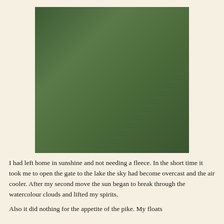[Figure (photo): Multiple fishing rods with reels laid diagonally on green grass, with orange floats visible near the top of the rods.]
I had left home in sunshine and not needing a fleece. In the short time it took me to open the gate to the lake the sky had become overcast and the air cooler. After my second move the sun began to break through the watercolour clouds and lifted my spirits.
Also it did nothing for the appetite of the pike. My floats